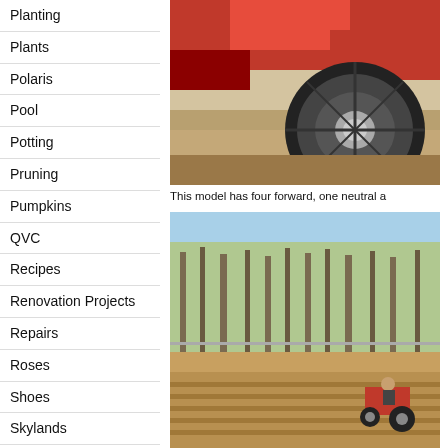Planting
Plants
Polaris
Pool
Potting
Pruning
Pumpkins
QVC
Recipes
Renovation Projects
Repairs
Roses
Shoes
Skylands
Snoop Dogg
Snow
Social Media
[Figure (photo): Close-up photo of a red tractor wheel/tire in soil with red tractor body visible]
This model has four forward, one neutral a
[Figure (photo): Photo of a tractor working in a field with bare trees in background and blue sky]